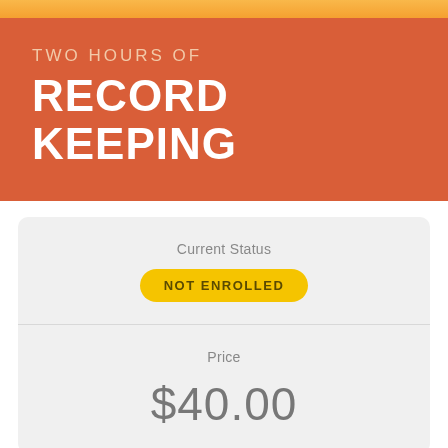TWO HOURS OF RECORD KEEPING
Current Status
NOT ENROLLED
Price
$40.00